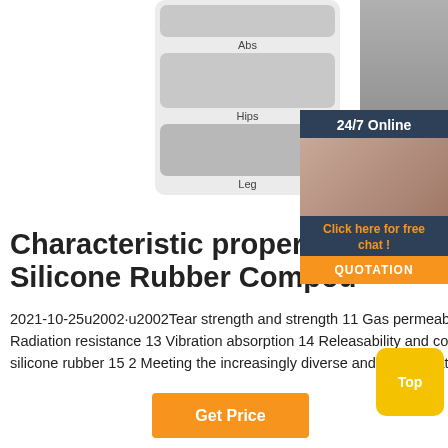[Figure (photo): Product images showing fitness wear with areas labeled Abs, Hips, Leg]
[Figure (photo): Woman in black fitness leggings with neon green accents, athletic pose]
[Figure (photo): 24/7 Online chat widget with female customer service agent]
Characteristic properties Silicone Rubber Compound
2021-10-25u2002·u2002Tear strength and strength 11 Gas permeability 12 Transparency and coloring properties 12 Radiation resistance 13 Vibration absorption 14 Releasability and corrosivity 14 Physiologically inert 14 The properties of silicone rubber 15 2 Meeting the increasingly diverse and sophisticated needs of industry with
[Figure (screenshot): Top button - yellow/gold rounded square with Top label]
[Figure (screenshot): Get Price orange button]